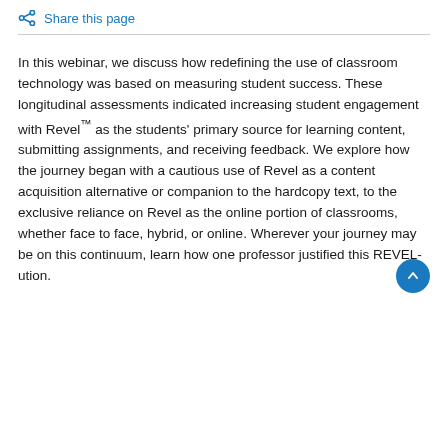Share this page
In this webinar, we discuss how redefining the use of classroom technology was based on measuring student success. These longitudinal assessments indicated increasing student engagement with Revel™ as the students' primary source for learning content, submitting assignments, and receiving feedback. We explore how the journey began with a cautious use of Revel as a content acquisition alternative or companion to the hardcopy text, to the exclusive reliance on Revel as the online portion of classrooms, whether face to face, hybrid, or online. Wherever your journey may be on this continuum, learn how one professor justified this REVEL-ution.